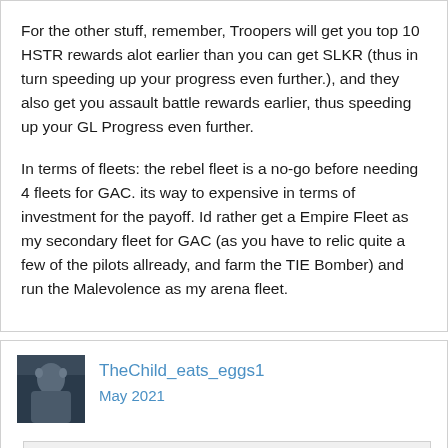For the other stuff, remember, Troopers will get you top 10 HSTR rewards alot earlier than you can get SLKR (thus in turn speeding up your progress even further.), and they also get you assault battle rewards earlier, thus speeding up your GL Progress even further.
In terms of fleets: the rebel fleet is a no-go before needing 4 fleets for GAC. its way to expensive in terms of investment for the payoff. Id rather get a Empire Fleet as my secondary fleet for GAC (as you have to relic quite a few of the pilots allready, and farm the TIE Bomber) and run the Malevolence as my arena fleet.
TheChild_eats_eggs1
May 2021
Intimmydation wrote: » @Terkac11